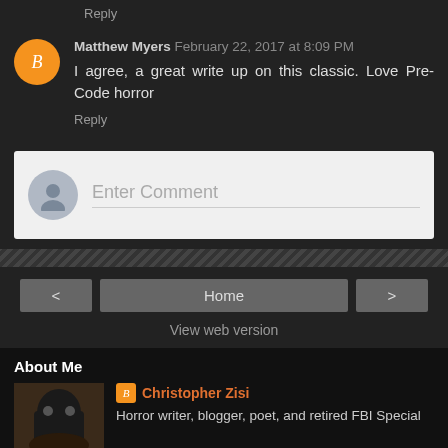Reply
Matthew Myers  February 22, 2017 at 8:09 PM
I agree, a great write up on this classic. Love Pre-Code horror
Reply
Enter Comment
Home
View web version
About Me
Christopher Zisi
Horror writer, blogger, poet, and retired FBI Special